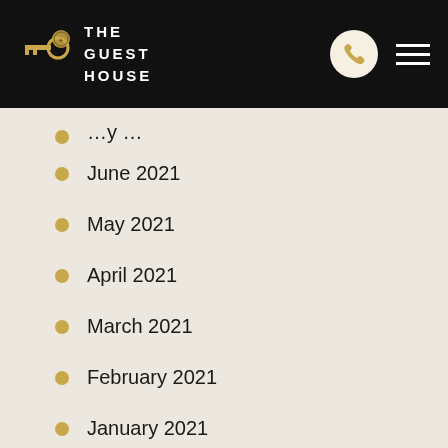THE GUEST HOUSE
June 2021
May 2021
April 2021
March 2021
February 2021
January 2021
December 2020
November 2020
October 2020
September 2020
August 2020
July 2020
June 2020
May 2020